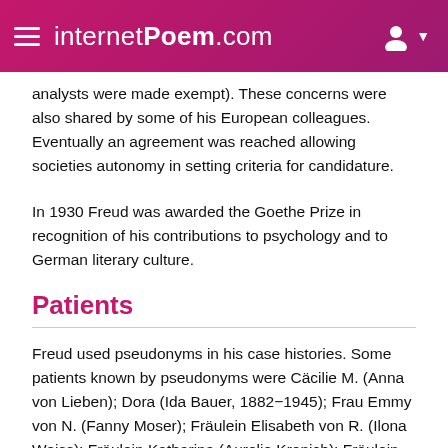internetPoem.com
analysts were made exempt). These concerns were also shared by some of his European colleagues. Eventually an agreement was reached allowing societies autonomy in setting criteria for candidature.
In 1930 Freud was awarded the Goethe Prize in recognition of his contributions to psychology and to German literary culture.
Patients
Freud used pseudonyms in his case histories. Some patients known by pseudonyms were Cäcilie M. (Anna von Lieben); Dora (Ida Bauer, 1882−1945); Frau Emmy von N. (Fanny Moser); Fräulein Elisabeth von R. (Ilona Weiss); Fräulein Katharina (Aurelia Kronich); Fräulein Lucy R.; Little Hans